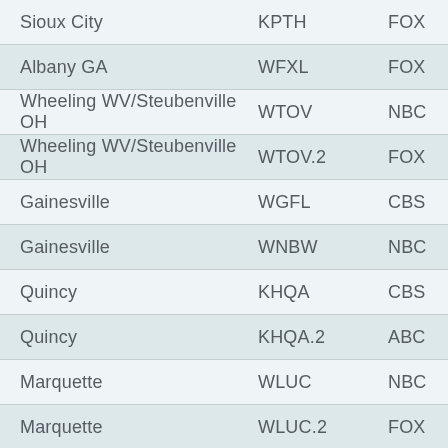| Market | Call Sign | Network |
| --- | --- | --- |
| Sioux City | KPTH | FOX |
| Albany GA | WFXL | FOX |
| Wheeling WV/Steubenville OH | WTOV | NBC |
| Wheeling WV/Steubenville OH | WTOV.2 | FOX |
| Gainesville | WGFL | CBS |
| Gainesville | WNBW | NBC |
| Quincy | KHQA | CBS |
| Quincy | KHQA.2 | ABC |
| Marquette | WLUC | NBC |
| Marquette | WLUC.2 | FOX |